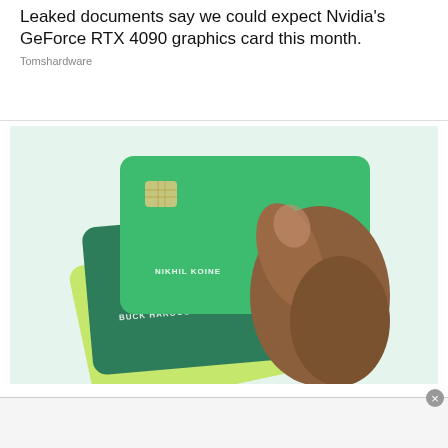Leaked documents say we could expect Nvidia's GeForce RTX 4090 graphics card this month.
Tomshardware
[Figure (photo): A hand holding three green credit cards of different shades fanned out, with names 'NIKHIL KOINE', 'BUCK HAROOS', and 'DEE HAYRO' printed on them. Cards appear to be Visa brand.]
Top Travel Credit Cards To Get You Where You Want To Go